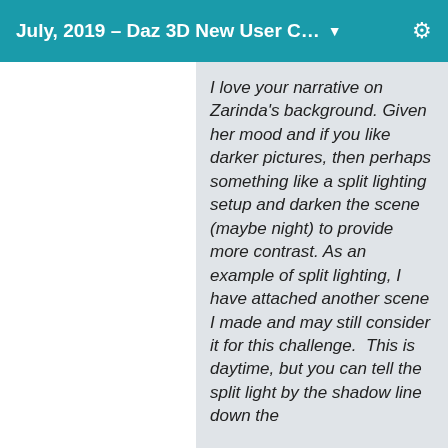July, 2019 – Daz 3D New User C… ▾
I love your narrative on Zarinda's background. Given her mood and if you like darker pictures, then perhaps something like a split lighting setup and darken the scene (maybe night) to provide more contrast. As an example of split lighting, I have attached another scene I made and may still consider it for this challenge.  This is daytime, but you can tell the split light by the shadow line down the